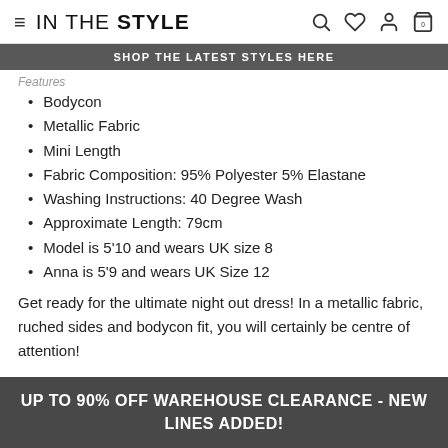IN THE STYLE
SHOP THE LATEST STYLES HERE
Features
Bodycon
Metallic Fabric
Mini Length
Fabric Composition: 95% Polyester 5% Elastane
Washing Instructions: 40 Degree Wash
Approximate Length: 79cm
Model is 5'10 and wears UK size 8
Anna is 5'9 and wears UK Size 12
Get ready for the ultimate night out dress! In a metallic fabric, ruched sides and bodycon fit, you will certainly be centre of attention!
UP TO 90% OFF WAREHOUSE CLEARANCE - NEW LINES ADDED!